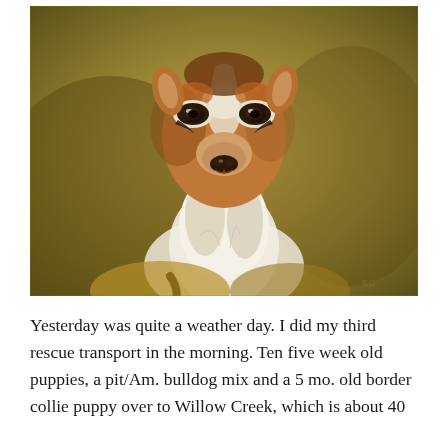[Figure (illustration): A realistic oil painting portrait of a gazelle (antelope) facing directly forward. The animal has large dark eyes with white markings around them, a narrow muzzle, reddish-brown fur on its face with white and dark facial markings, and a white chest/throat. The background is a muted golden-olive color. An artist's signature appears in the lower right corner.]
Yesterday was quite a weather day. I did my third rescue transport in the morning. Ten five week old puppies, a pit/Am. bulldog mix and a 5 mo. old border collie puppy over to Willow Creek, which is about 40